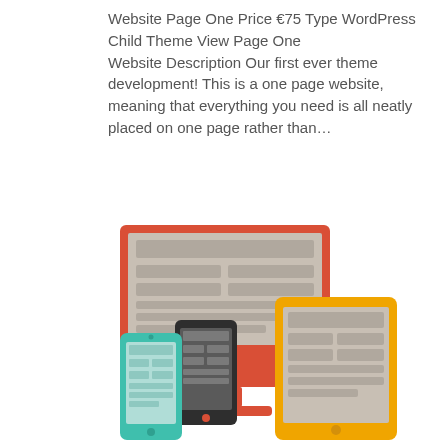Website Page One Price €75 Type WordPress Child Theme View Page One Website Description Our first ever theme development! This is a one page website, meaning that everything you need is all neatly placed on one page rather than...
[Figure (illustration): Flat design illustration of responsive web design showing a desktop monitor (red/orange), a tablet (yellow), and a smartphone (teal/green) with a dark phone layered behind them, all displaying a webpage layout with grey content blocks.]